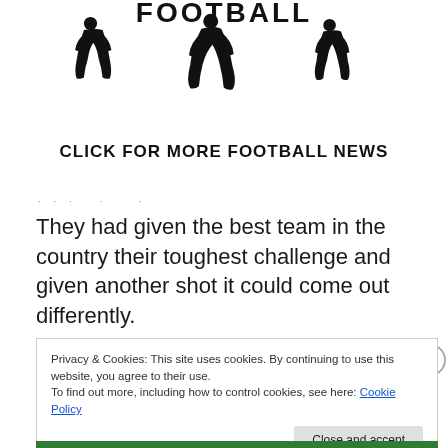[Figure (illustration): Football banner with three football player silhouettes and the word FOOTBALL in bold distressed font above them, with text 'CLICK FOR MORE FOOTBALL NEWS' below]
· · · · · ·
They had given the best team in the country their toughest challenge and given another shot it could come out differently.
Privacy & Cookies: This site uses cookies. By continuing to use this website, you agree to their use.
To find out more, including how to control cookies, see here: Cookie Policy
Close and accept